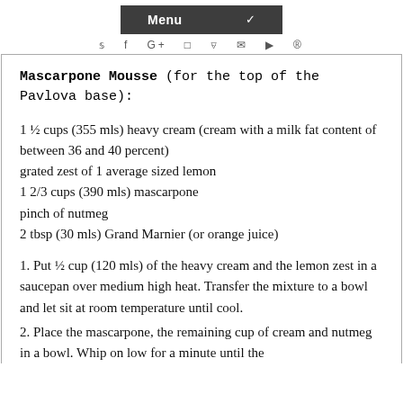Menu
y f G+ ▣ )) ✉ ▶ ®
Mascarpone Mousse (for the top of the Pavlova base):
1 ½ cups (355 mls) heavy cream (cream with a milk fat content of between 36 and 40 percent)
grated zest of 1 average sized lemon
1 2/3 cups (390 mls) mascarpone
pinch of nutmeg
2 tbsp (30 mls) Grand Marnier (or orange juice)
1. Put ½ cup (120 mls) of the heavy cream and the lemon zest in a saucepan over medium high heat. Transfer the mixture to a bowl and let sit at room temperature until cool.
2. Place the mascarpone, the remaining cup of cream and nutmeg in a bowl. Whip on low for a minute until the